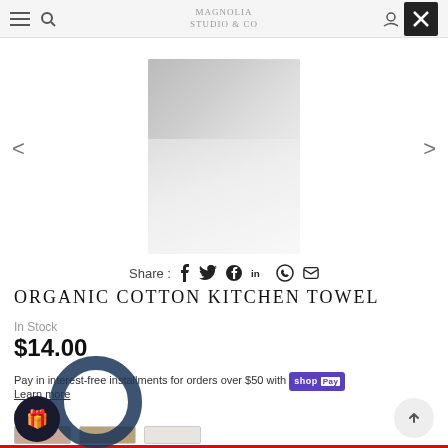MAGNOLIA STUDIO & CO
[Figure (photo): Folded light grey organic cotton kitchen towel with textured weave pattern]
Share : [social icons: facebook, twitter, pinterest, linkedin, whatsapp, email]
ORGANIC COTTON KITCHEN TOWEL
In Stock
$14.00
Pay in interest-free installments for orders over $50 with Shop Pay
Learn more
GREY
[Figure (other): Three color swatch options for kitchen towel]